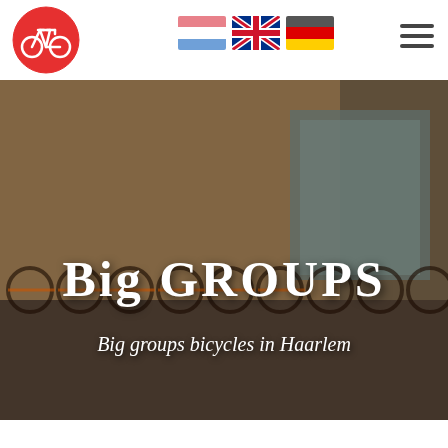[Figure (logo): Red circle with white bicycle icon — bike rental company logo]
[Figure (infographic): Three country flag icons: Netherlands, United Kingdom, Germany]
[Figure (illustration): Hamburger/menu icon (three horizontal lines)]
[Figure (photo): Hero background photo of many bicycles parked in a row outside a brick building in Haarlem]
Big Groups
Big groups bicycles in Haarlem